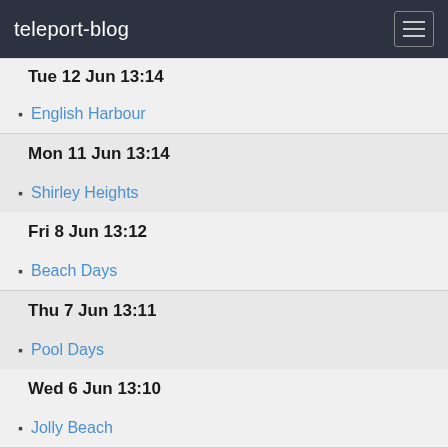teleport-blog
Tue 12 Jun 13:14
English Harbour
Mon 11 Jun 13:14
Shirley Heights
Fri 8 Jun 13:12
Beach Days
Thu 7 Jun 13:11
Pool Days
Wed 6 Jun 13:10
Jolly Beach
Tue 5 Jun 13:10
Jolly Party in the Park
Mon 4 Jun 11:36
Hurricane Tracks 2011
Sun 3 Jun 18:58
Sticky Wicket